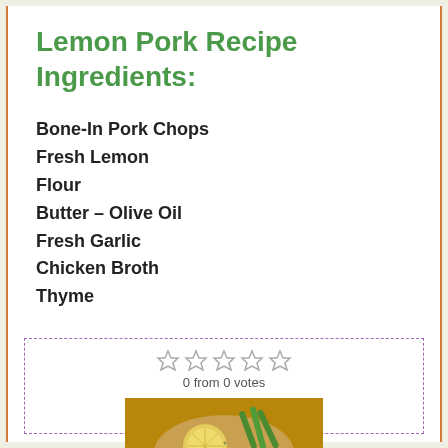Lemon Pork Recipe Ingredients:
Bone-In Pork Chops
Fresh Lemon
Flour
Butter – Olive Oil
Fresh Garlic
Chicken Broth
Thyme
[Figure (photo): Rating widget showing 0 from 0 votes with 5 empty star ratings, and a photo of lemon pork chops with green beans]